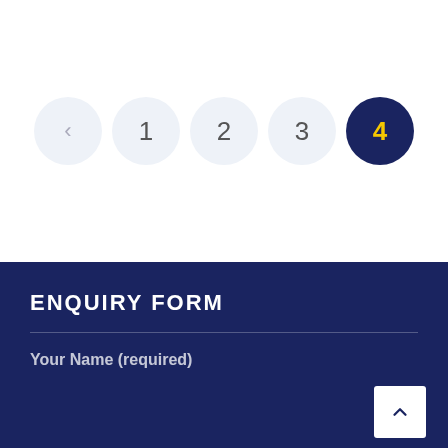[Figure (other): Pagination controls showing a back arrow button and page numbers 1, 2, 3, 4 — with page 4 highlighted in dark navy blue with yellow text as the active page.]
ENQUIRY FORM
Your Name (required)